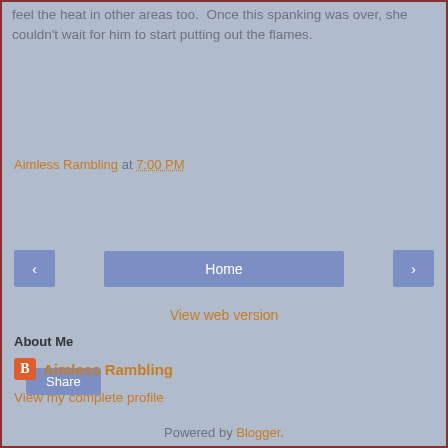feel the heat in other areas too.  Once this spanking was over, she couldn't wait for him to start putting out the flames.
Aimless Rambling at 7:00 PM
Share
< Home >
View web version
About Me
Aimless Rambling
View my complete profile
Powered by Blogger.